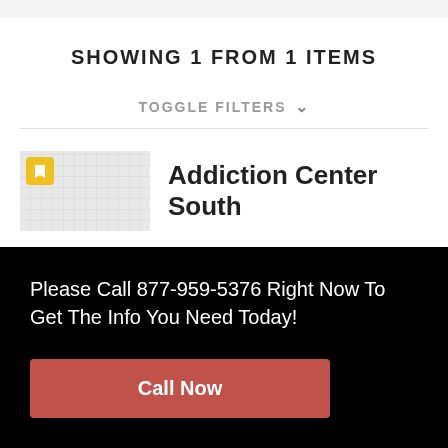SHOWING 1 FROM 1 ITEMS
TOGGLE FILTERS
Addiction Center South
Please Call 877-959-5376 Right Now To Get The Info You Need Today!
Call Now